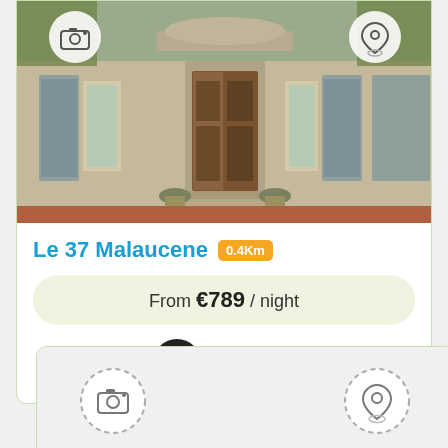[Figure (photo): Exterior of Le 37 Malaucene property — a traditional French stone building with blue shutters and a wooden door, with camera and location icons overlaid on the photo]
Le 37 Malaucene 0.4Km
From €789 / night
Book Now
[Figure (photo): Second property listing card (partially visible) with dashed camera and location icons, image area empty]